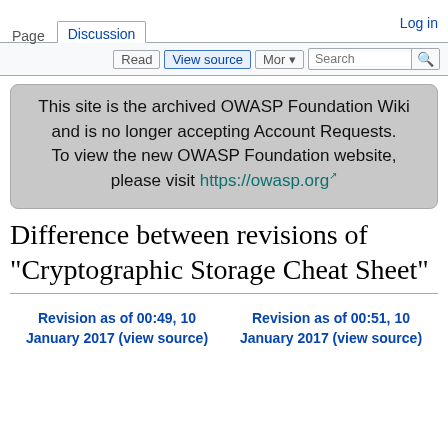Page  Discussion  Log in
Read  View source  Mor▼  Search
This site is the archived OWASP Foundation Wiki and is no longer accepting Account Requests. To view the new OWASP Foundation website, please visit https://owasp.org
Difference between revisions of "Cryptographic Storage Cheat Sheet"
Revision as of 00:49, 10 January 2017 (view source)
Revision as of 00:51, 10 January 2017 (view source)